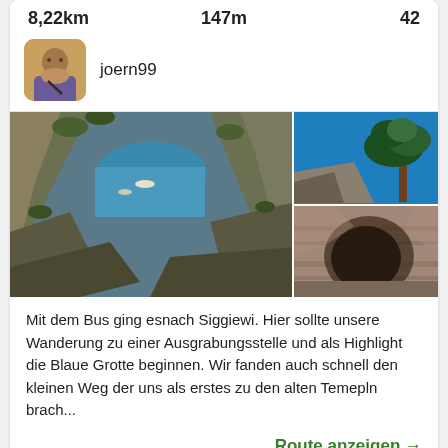8,22km	147m	42
joern99
[Figure (photo): Three outdoor landscape photos: large photo on left showing rocky canyon with blue water and boats, top-right photo showing blue sky with a pine tree, bottom-right photo showing rocky cliffs/grotto.]
Mit dem Bus ging esnach Siggiewi. Hier sollte unsere Wanderung zu einer Ausgrabungsstelle und als Highlight die Blaue Grotte beginnen. Wir fanden auch schnell den kleinen Weg der uns als erstes zu den alten Tempeln brach...
Route anzeigen →
Wandern
Zur Liste hinzufügen